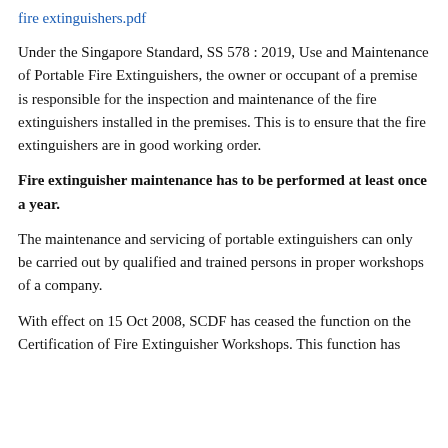fire extinguishers.pdf
Under the Singapore Standard, SS 578 : 2019, Use and Maintenance of Portable Fire Extinguishers, the owner or occupant of a premise is responsible for the inspection and maintenance of the fire extinguishers installed in the premises. This is to ensure that the fire extinguishers are in good working order.
Fire extinguisher maintenance has to be performed at least once a year.
The maintenance and servicing of portable extinguishers can only be carried out by qualified and trained persons in proper workshops of a company.
With effect on 15 Oct 2008, SCDF has ceased the function on the Certification of Fire Extinguisher Workshops. This function has